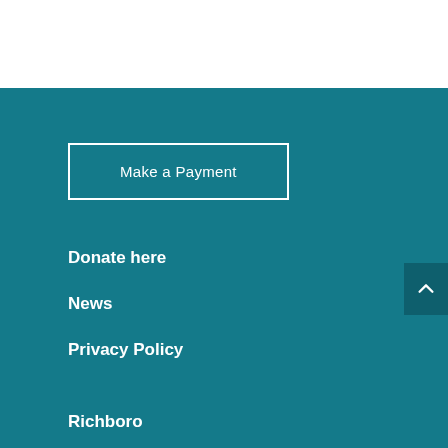Make a Payment
Donate here
News
Privacy Policy
Richboro